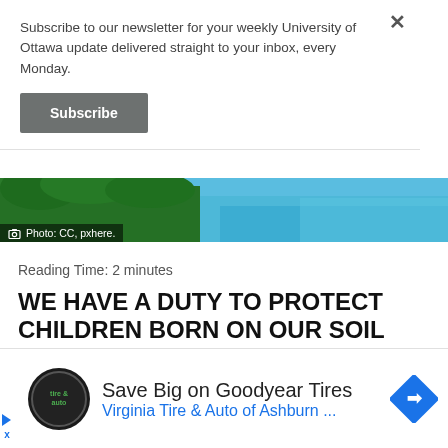Subscribe to our newsletter for your weekly University of Ottawa update delivered straight to your inbox, every Monday.
Subscribe
[Figure (photo): Scenic landscape photo showing green trees and a blue lake or river. Caption reads: Photo: CC, pxhere.]
Photo: CC, pxhere.
Reading Time: 2 minutes
WE HAVE A DUTY TO PROTECT CHILDREN BORN ON OUR SOIL
e has continued for decades over just what makes
Save Big on Goodyear Tires
Virginia Tire & Auto of Ashburn ...